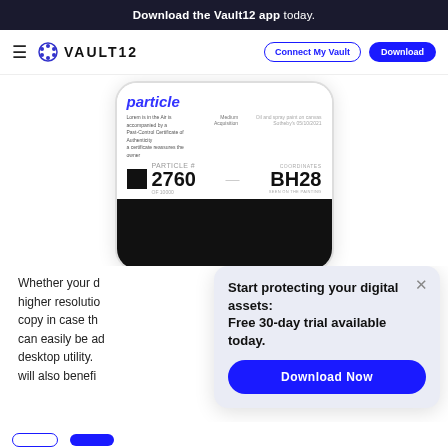Download the Vault12 app today.
[Figure (screenshot): Vault12 navigation bar with hamburger menu, Vault12 logo, Connect My Vault button, and Download button]
[Figure (screenshot): Phone mockup showing a Particle NFT certificate with number 2760 of 10000, coordinate BH28, on a white and black screen]
Whether your digital assets are photos, higher resolution images, a digital copy in case the original is lost, they can easily be accessed through our desktop utility. NFT collectors will also benefit
[Figure (infographic): Popup overlay with text 'Start protecting your digital assets: Free 30-day trial available today.' and a Download Now button]
[Figure (screenshot): Two buttons at the bottom: an outline button and a solid blue button]